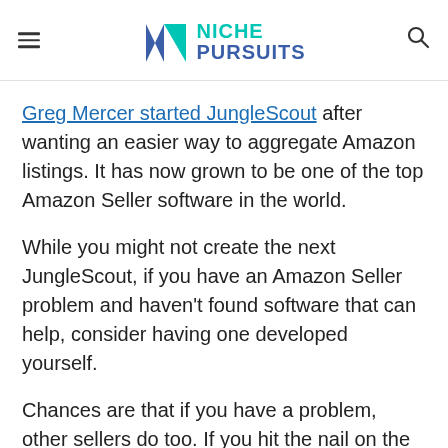NICHE PURSUITS
Greg Mercer started JungleScout after wanting an easier way to aggregate Amazon listings. It has now grown to be one of the top Amazon Seller software in the world.
While you might not create the next JungleScout, if you have an Amazon Seller problem and haven't found software that can help, consider having one developed yourself.
Chances are that if you have a problem, other sellers do too. If you hit the nail on the head, starting an Amazon software business can be a